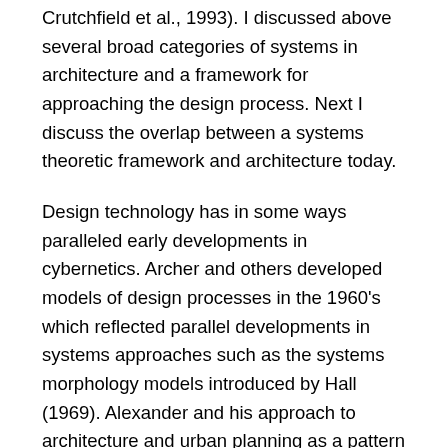Crutchfield et al., 1993). I discussed above several broad categories of systems in architecture and a framework for approaching the design process. Next I discuss the overlap between a systems theoretic framework and architecture today.
Design technology has in some ways paralleled early developments in cybernetics. Archer and others developed models of design processes in the 1960's which reflected parallel developments in systems approaches such as the systems morphology models introduced by Hall (1969). Alexander and his approach to architecture and urban planning as a pattern language has been influential to a generation of designers and has also influenced the development of object oriented programing. These concepts are directly